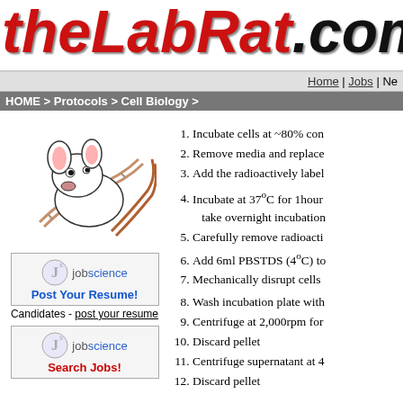theLabRat.com
Home | Jobs | Ne
HOME > Protocols > Cell Biology >
[Figure (illustration): Lab rat mascot cartoon holding DNA double helix]
[Figure (illustration): Jobscience ad box with Post Your Resume button]
Candidates - post your resume
[Figure (illustration): Jobscience ad box with Search Jobs button]
Incubate cells at ~80% con
Remove media and replace
Add the radioactively label
Incubate at 37ºC for 1hour take overnight incubation
Carefully remove radioact
Add 6ml PBSTDS (4ºC) to
Mechanically disrupt cells
Wash incubation plate with
Centrifuge at 2,000rpm for
Discard pellet
Centrifuge supernatant at 4
Discard pellet